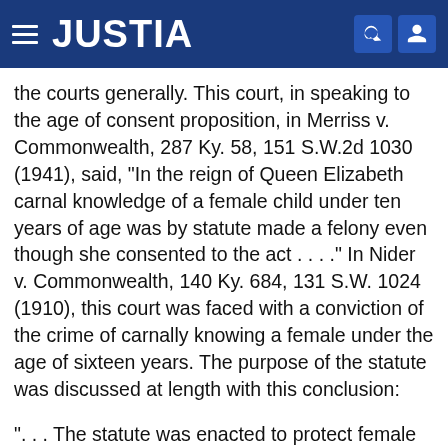JUSTIA
the courts generally. This court, in speaking to the age of consent proposition, in Merriss v. Commonwealth, 287 Ky. 58, 151 S.W.2d 1030 (1941), said, "In the reign of Queen Elizabeth carnal knowledge of a female child under ten years of age was by statute made a felony even though she consented to the act . . . ." In Nider v. Commonwealth, 140 Ky. 684, 131 S.W. 1024 (1910), this court was faced with a conviction of the crime of carnally knowing a female under the age of sixteen years. The purpose of the statute was discussed at length with this conclusion:
". . . The statute was enacted to protect female children who are of such tender years as to be unable to appreciate the enormity of this offense, and the law should be so administered and construed as to not only protect them from persons who actually commit the act